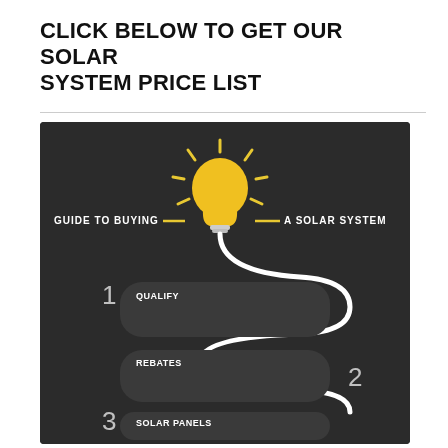CLICK BELOW TO GET OUR SOLAR SYSTEM PRICE LIST
[Figure (infographic): Infographic on dark background titled 'Guide to Buying a Solar System' with a yellow lightbulb icon and three steps: 1. QUALIFY - Is your roof suitable? Meter box all good? Is there shading? Anything else needed to satisfy your Energy Network or Retailers requirements to connect a solar system from your property to the grid. Do you have the money or will you need a payment plan? 2. REBATES - What government incentives exist? What Feed-in Tariff can you get (how much will a Electricity Retailer pay you for your exported power?). 3. SOLAR PANELS - What panels to use? Steer clear of the cheap rubbish crap. For example, a good budget panel is a Hyundai panel. Or just get the best, the LG solar panels.]